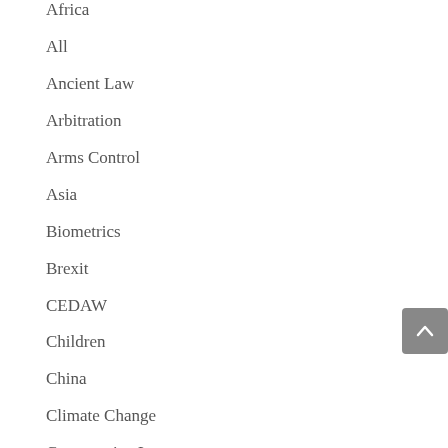Africa
All
Ancient Law
Arbitration
Arms Control
Asia
Biometrics
Brexit
CEDAW
Children
China
Climate Change
Comparative Law
Covid-19
Criminal Procedure